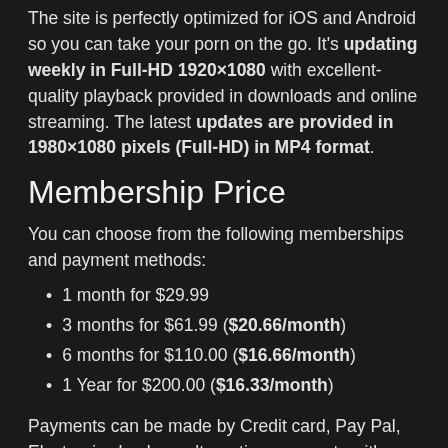The site is perfectly optimized for iOS and Android so you can take your porn on the go. It's updating weekly in Full-HD 1920×1080 with excellent-quality playback provided in downloads and online streaming. The latest updates are provided in 1980×1080 pixels (Full-HD) in MP4 format.
Membership Price
You can choose from the following memberships and payment methods:
1 month for $29.99
3 months for $61.99 ($20.66/month)
6 months for $110.00 ($16.66/month)
1 Year for $200.00 ($16.33/month)
Payments can be made by Credit card, Pay Pal, Electronic check, or alternative payments with Bitcoin, Litecoin, Gift